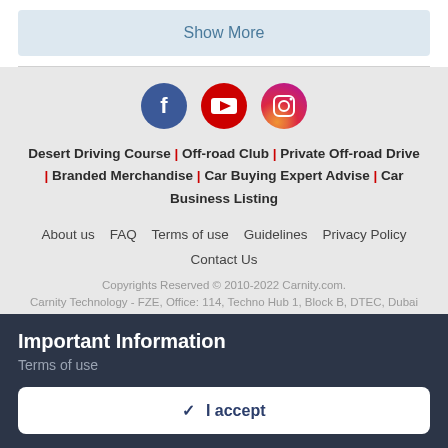Show More
[Figure (infographic): Social media icons: Facebook (dark blue circle with f), YouTube (red circle with play button), Instagram (gradient circle with camera icon)]
Desert Driving Course | Off-road Club | Private Off-road Drive | Branded Merchandise | Car Buying Expert Advise | Car Business Listing
About us  FAQ  Terms of use  Guidelines  Privacy Policy  Contact Us
Copyrights Reserved © 2010-2022 Carnity.com.
Carnity Technology - FZE, Office: 114, Techno Hub 1, Block B, DTEC, Dubai
Important Information
Terms of use
✓  I accept